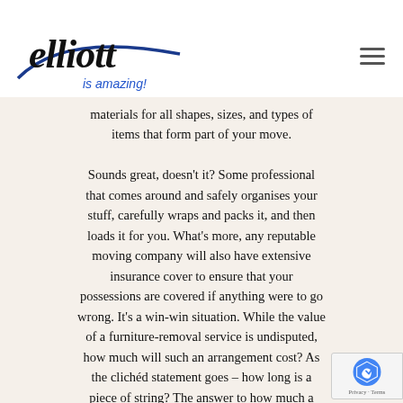[Figure (logo): Elliott 'is amazing!' company logo with swoosh graphic]
materials for all shapes, sizes, and types of items that form part of your move.

Sounds great, doesn't it? Some professional that comes around and safely organises your stuff, carefully wraps and packs it, and then loads it for you. What's more, any reputable moving company will also have extensive insurance cover to ensure that your possessions are covered if anything were to go wrong. It's a win-win situation. While the value of a furniture-removal service is undisputed, how much will such an arrangement cost? As the clichéd statement goes – how long is a piece of string? The answer to how much a furniture-removal service costs really depend on the type and size of move you are planning.